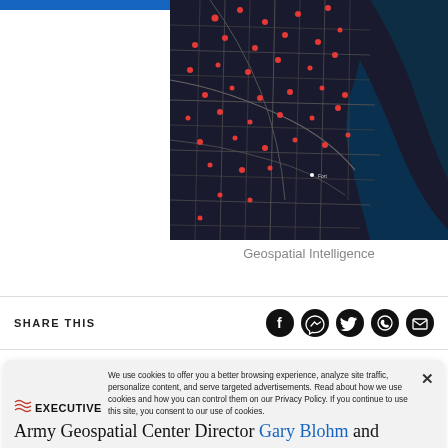[Figure (map): Dark-themed geospatial map showing a city grid with red dot markers scattered across a metropolitan area, with a body of water (lake or ocean) visible on the right side.]
Geospatial Intelligence
SHARE THIS
[Figure (infographic): Row of five black circular social share icons: Facebook, Messenger, Twitter, WhatsApp, Email]
[Figure (logo): ExecutiveGov logo with red wave lines and bold text]
We use cookies to offer you a better browsing experience, analyze site traffic, personalize content, and serve targeted advertisements. Read about how we use cookies and how you can control them on our Privacy Policy. If you continue to use this site, you consent to our use of cookies.
Army Geospatial Center Director Gary Blohm and